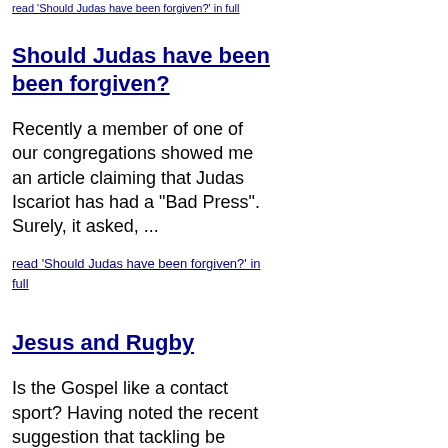read 'Should Judas have been forgiven?' in full
Should Judas have been forgiven?
Recently a member of one of our congregations showed me an article claiming that Judas Iscariot has had a "Bad Press". Surely, it asked, ...
read 'Should Judas have been forgiven?' in full
Jesus and Rugby
Is the Gospel like a contact sport? Having noted the recent suggestion that tackling be removed from school rugby, I was about to